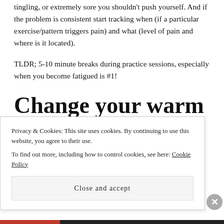tingling, or extremely sore you shouldn't push yourself. And if the problem is consistent start tracking when (if a particular exercise/pattern triggers pain) and what (level of pain and where is it located).
TLDR; 5-10 minute breaks during practice sessions, especially when you become fatigued is #1!
Change your warm ups
Variety is good – coming up with creative exercises and
Privacy & Cookies: This site uses cookies. By continuing to use this website, you agree to their use.
To find out more, including how to control cookies, see here: Cookie Policy
Close and accept